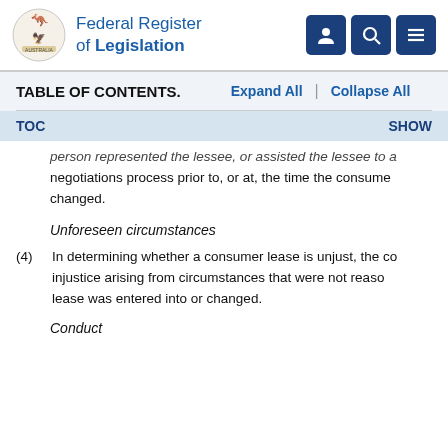Federal Register of Legislation
TABLE OF CONTENTS.    Expand All  |  Collapse All
TOC    SHOW
person represented the lessee, or assisted the lessee to a negotiations process prior to, or at, the time the consume changed.
Unforeseen circumstances
(4)  In determining whether a consumer lease is unjust, the co injustice arising from circumstances that were not reaso lease was entered into or changed.
Conduct